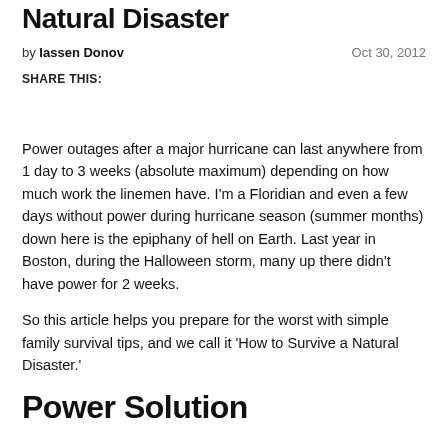Natural Disaster
by Iassen Donov Oct 30, 2012
SHARE THIS:
Power outages after a major hurricane can last anywhere from 1 day to 3 weeks (absolute maximum) depending on how much work the linemen have. I'm a Floridian and even a few days without power during hurricane season (summer months) down here is the epiphany of hell on Earth. Last year in Boston, during the Halloween storm, many up there didn't have power for 2 weeks.
So this article helps you prepare for the worst with simple family survival tips, and we call it ‘How to Survive a Natural Disaster.'
Power Solution